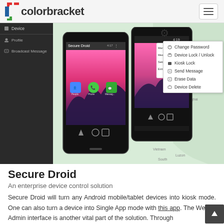colorbracket
[Figure (screenshot): Screenshot of Secure Droid app showing two Android phones with a management interface, a dark sidebar with Device, Profile, Broadcast Message menu items, and a dropdown menu with options: Change Password, Device Lock/Unlock, Kiosk Lock, Send Message, Erase Data, Device Delete. Background shows a map of East Asia.]
Secure Droid
An enterprise device control solution
Secure Droid will turn any Android mobile/tablet devices into kiosk mode. One can also turn a device into Single App mode with this app. The Web or Admin interface is another vital part of the solution. Through